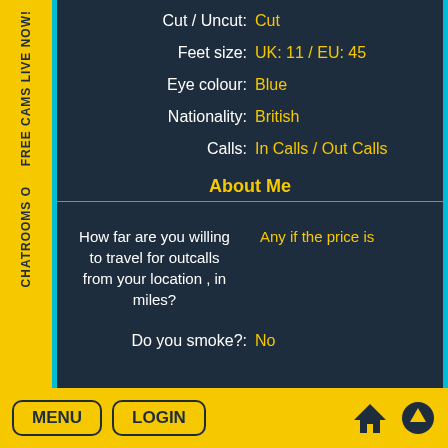FREE CAMS LIVE NOW!
Chatrooms o
Cut / Uncut: Cut
Feet size: UK: 11 / EU: 45
Eye colour: Blue
Nationality: British
Calls: In Calls / Out Calls
About Me
How far are you willing to travel for outcalls from your location , in miles?  Any if the price is
Do you smoke?: No
MENU  LOGIN